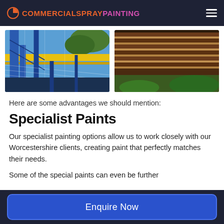COMMERCIALSPRAYPAINTING
[Figure (photo): Two photos side by side: left shows industrial scaffolding/crane with yellow beam against blue sky; right shows underside of a roof structure with wooden/metal slats]
Here are some advantages we should mention:
Specialist Paints
Our specialist painting options allow us to work closely with our Worcestershire clients, creating paint that perfectly matches their needs.
Some of the special paints can even be further
Enquire Now